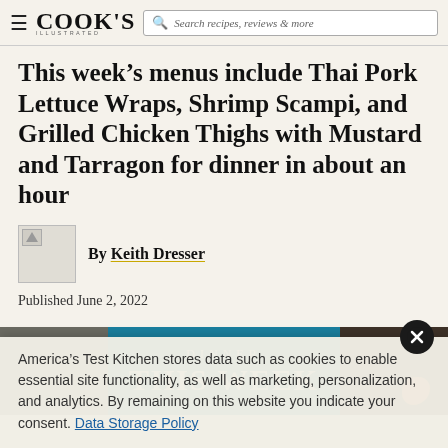COOK'S ILLUSTRATED — Search recipes, reviews & more
This week's menus include Thai Pork Lettuce Wraps, Shrimp Scampi, and Grilled Chicken Thighs with Mustard and Tarragon for dinner in about an hour
By Keith Dresser
Published June 2, 2022
[Figure (photo): Feature banner image reading DINNER THIS WEEK with a teal/blue background panel over a dark food photography background]
America's Test Kitchen stores data such as cookies to enable essential site functionality, as well as marketing, personalization, and analytics. By remaining on this website you indicate your consent. Data Storage Policy